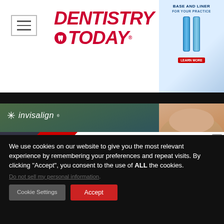[Figure (logo): Dentistry Today logo in red italic bold text with tooth icon]
[Figure (photo): Advertisement in top-right corner showing dental product (tube/liner) with blue packaging]
[Figure (photo): Invisalign banner advertisement with logo and smiling woman]
[Figure (illustration): Glidewell Symposium 2022 popup advertisement with tooth graphic, red triangle background, and bold text]
We use cookies on our website to give you the most relevant experience by remembering your preferences and repeat visits. By clicking “Accept”, you consent to the use of ALL the cookies.
Do not sell my personal information.